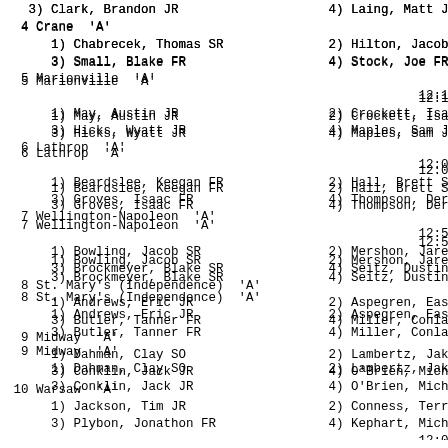3) Clark, Brandon JR                    4) Laing, Matt JR
4 Crane  'A'
      1) Chabrecek, Thomas SR              2) Hilton, Jacob
      3) Small, Blake FR                    4) Stock, Joe FR
5 Marionville  'A'                                      12:1
      1) May, Austin JR                     2) Crockett, Isaa
      3) Hicks, Wyatt JR                    4) Maples, Sam JR
6 Lathrop  'A'                                          12:0
      1) Beardslee, Keegan FR               2) Hall, Brett SR
      3) Groves, Isaac FR                   4) Thompson, Dery
7 Wellington-Napoleon  'A'                              12:5
      1) Bowling, Jacob SR                  2) Mershon, Jared
      3) Brockmeyer, Blake SR               4) Seitz, Dustin
8 St. Mary's (Independence)  'A'
      1) Andrews, Eric JR                   2) Aspegren, East
      3) Butler, Tanner FR                  4) Miller, Conlan
9 Midway  'A'
      1) Dahman, Clay SO                    2) Lambertz, Jake
      3) Conklin, Jack JR                   4) O'Brien, Micha
10 Warsaw  'A'
      1) Jackson, Tim JR                    2) Conness, Terra
      3) Plybon, Jonathon FR                4) Kephart, Micha
11 Lafayette County  'A'                                12:0
      1) Turner, Jordan FR                  2) Hinton, Eisley
      3) Goring, Hunter FR                  4) Overstreet, Ry
12 Crest Ridge  'A'
      1) Cross, Spenser FR                  2) Bestgen, Aust:
      3) Payne, Morgan FR                   4) English, Conne
Boys High Jump